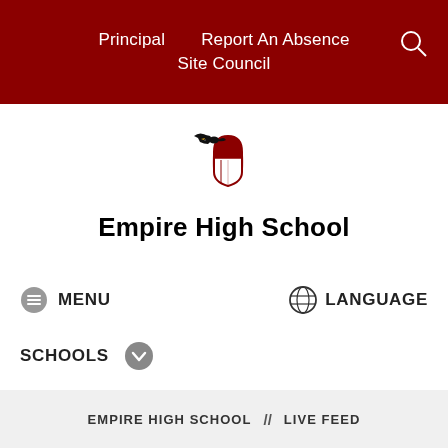Principal    Report An Absence    Site Council
[Figure (logo): Empire High School mascot logo with eagle and shield]
Empire High School
☰ MENU
🌐 LANGUAGE
SCHOOLS ⌄
EMPIRE HIGH SCHOOL // LIVE FEED